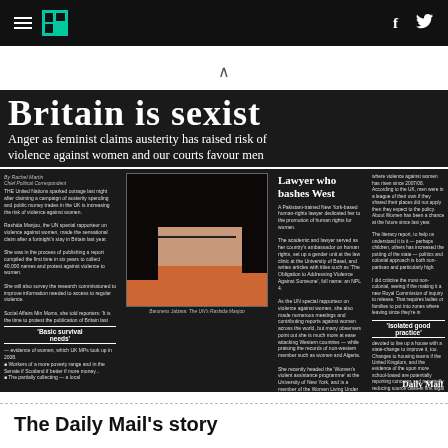HuffPost navigation header with hamburger menu, logo, facebook and twitter icons
[Figure (photo): Photograph of a Daily Mail newspaper front page showing headline 'Britain is Sexist' with subheadline 'Anger as feminist claims austerity has raised risk of violence against women and our courts favour men'. Contains photo of a dark-haired woman described as 'Lawyer who bashes West'. Multiple columns of text. Daily Mail watermark in bottom right.]
The Daily Mail's story